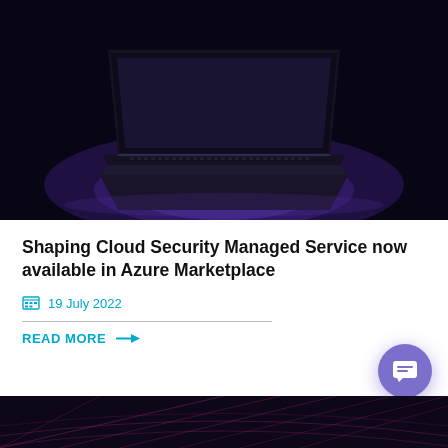[Figure (photo): Dark laptop computer partially open with purple/blue glow emanating from the keyboard and screen on a dark surface]
Shaping Cloud Security Managed Service now available in Azure Marketplace
19 July 2022
READ MORE →
[Figure (photo): Dark background with purple/pink grid lines visible at the bottom of the page]